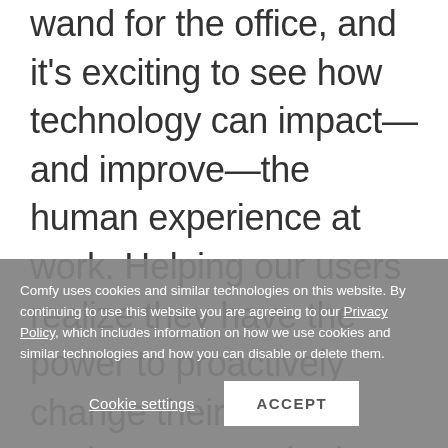wand for the office, and it's exciting to see how technology can impact—and improve—the human experience at work. Helping our users realize they have the power to proactively change their environment—whether it's the temperature, lighting, or finding a better place to work to suit their
Comfy uses cookies and similar technologies on this website. By continuing to use this website you are agreeing to our Privacy Policy, which includes information on how we use cookies and similar technologies and how you can disable or delete them.
Cookie settings
ACCEPT